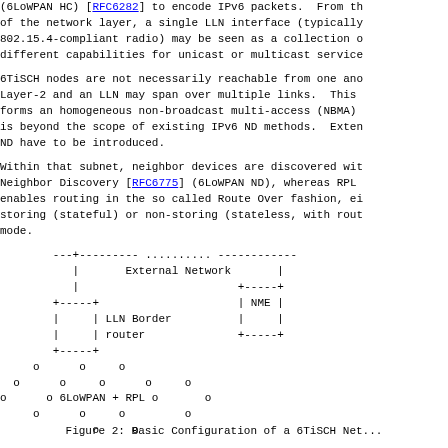(6LoWPAN HC) [RFC6282] to encode IPv6 packets.  From the perspective of the network layer, a single LLN interface (typically an 802.15.4-compliant radio) may be seen as a collection of links with different capabilities for unicast or multicast services.
6TiSCH nodes are not necessarily reachable from one another at Layer-2 and an LLN may span over multiple links.  This forms an homogeneous non-broadcast multi-access (NBMA) that is beyond the scope of existing IPv6 ND methods.  Extensions to ND have to be introduced.
Within that subnet, neighbor devices are discovered with Neighbor Discovery [RFC6775] (6LoWPAN ND), whereas RPL enables routing in the so called Route Over fashion, either storing (stateful) or non-storing (stateless, with source route) mode.
[Figure (schematic): ASCII art diagram showing a basic 6TiSCH network configuration with External Network, LLN Border router, NME, and 6LoWPAN + RPL nodes represented by 'o' characters.]
Figure 2: Basic Configuration of a 6TiSCH Net...